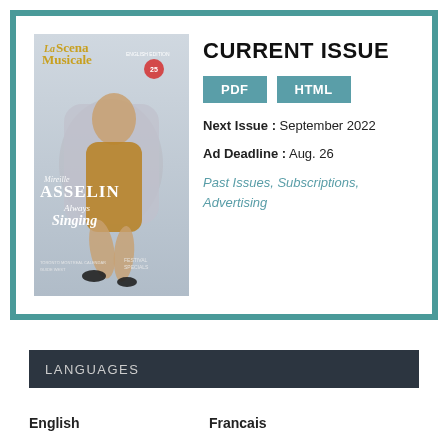CURRENT ISSUE
[Figure (other): Magazine cover of La Scena Musicale featuring Mireille Asselin, titled 'Always Singing', English Edition]
PDF   HTML
Next Issue : September 2022
Ad Deadline : Aug. 26
Past Issues, Subscriptions, Advertising
LANGUAGES
English   Francais